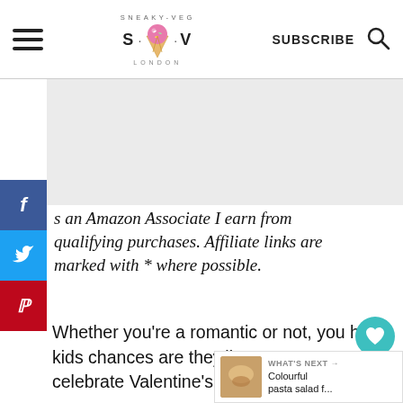SNEAKY-VEG S · V LONDON | SUBSCRIBE
As an Amazon Associate I earn from qualifying purchases. Affiliate links are marked with * where possible.
Whether you're a romantic or not, you have kids chances are they'll want you to celebrate Valentine's Day.